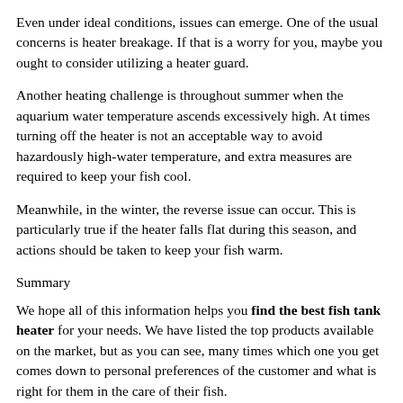Even under ideal conditions, issues can emerge. One of the usual concerns is heater breakage. If that is a worry for you, maybe you ought to consider utilizing a heater guard.
Another heating challenge is throughout summer when the aquarium water temperature ascends excessively high. At times turning off the heater is not an acceptable way to avoid hazardously high-water temperature, and extra measures are required to keep your fish cool.
Meanwhile, in the winter, the reverse issue can occur. This is particularly true if the heater falls flat during this season, and actions should be taken to keep your fish warm.
Summary
We hope all of this information helps you find the best fish tank heater for your needs. We have listed the top products available on the market, but as you can see, many times which one you get comes down to personal preferences of the customer and what is right for them in the care of their fish.
Recent Content